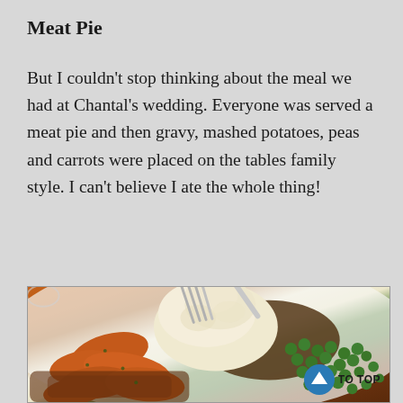Meat Pie
But I couldn't stop thinking about the meal we had at Chantal's wedding. Everyone was served a meat pie and then gravy, mashed potatoes, peas and carrots were placed on the tables family style. I can't believe I ate the whole thing!
[Figure (photo): A plate of food showing mashed potatoes with a fork stuck in them, cooked carrots, green peas, and gravy. A back-to-top button is visible in the bottom right corner.]